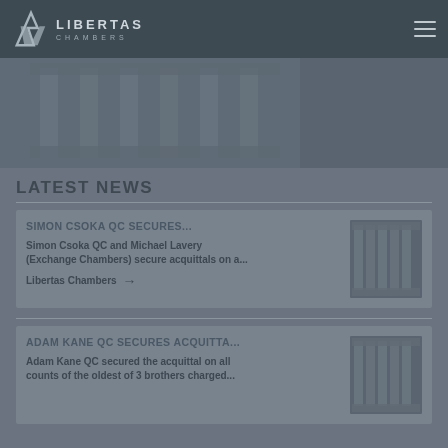Libertas Chambers
[Figure (photo): Hero image showing a courthouse or building interior, dark toned]
LATEST NEWS
SIMON CSOKA QC SECURES...
Simon Csoka QC and Michael Lavery (Exchange Chambers) secure acquittals on a...
Libertas Chambers →
[Figure (photo): Photograph of classical stone columns on a courthouse or government building]
ADAM KANE QC SECURES ACQUITTA...
Adam Kane QC secured the acquittal on all counts of the oldest of 3 brothers charged...
[Figure (photo): Photograph of classical stone columns on a courthouse or government building]